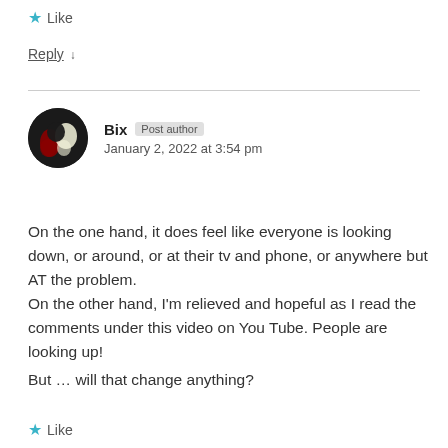★ Like
Reply ↓
Bix Post author
January 2, 2022 at 3:54 pm
On the one hand, it does feel like everyone is looking down, or around, or at their tv and phone, or anywhere but AT the problem.
On the other hand, I'm relieved and hopeful as I read the comments under this video on You Tube. People are looking up!
But ... will that change anything?
★ Like